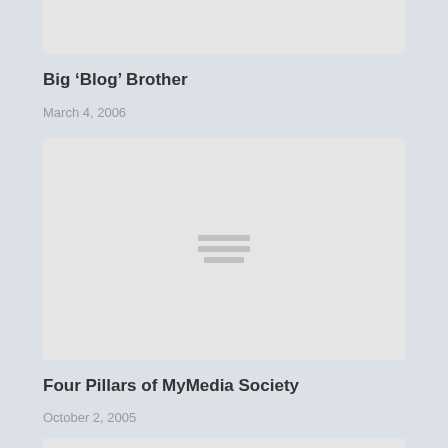[Figure (photo): Gray placeholder image block cropped at top of page]
Big ‘Blog’ Brother
March 4, 2006
[Figure (photo): Gray placeholder image block with three horizontal lines icon in center]
Four Pillars of MyMedia Society
October 2, 2005
[Figure (photo): Gray placeholder image block cropped at bottom of page]